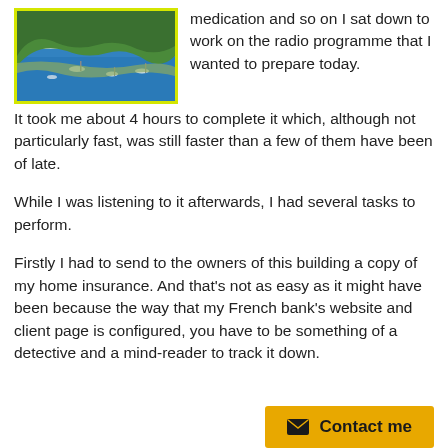[Figure (photo): Aerial or elevated view of a coastal harbor with boats on blue water and green vegetation/hillside in the foreground, framed with a yellow-green border.]
medication and so on I sat down to work on the radio programme that I wanted to prepare today. It took me about 4 hours to complete it which, although not particularly fast, was still faster than a few of them have been of late.
While I was listening to it afterwards, I had several tasks to perform.
Firstly I had to send to the owners of this building a copy of my home insurance. And that's not as easy as it might have been because the way that my French bank's website and client page is configured, you have to be something of a detective and a mind-reader to track it down.